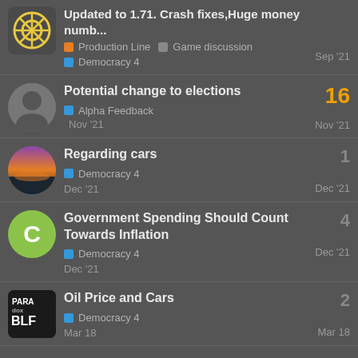Updated to 1.71. Crash fixes,Huge money numb... | Production Line | Game discussion | Sep '21
Potential change to elections | 16 | Alpha Feedback | Nov '21
Regarding cars | 1 | Democracy 4 | Dec '21
Government Spending Should Count Towards Inflation | 4 | Democracy 4 | Dec '21
Oil Price and Cars | 2 | Democracy 4 | Mar 18
Want to read more? Browse other topics in Game discussion or view latest topics.